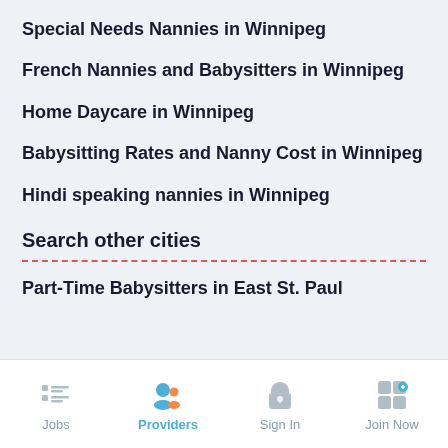Special Needs Nannies in Winnipeg
French Nannies and Babysitters in Winnipeg
Home Daycare in Winnipeg
Babysitting Rates and Nanny Cost in Winnipeg
Hindi speaking nannies in Winnipeg
Search other cities
Part-Time Babysitters in East St. Paul
Jobs | Providers | Sign In | Join Now